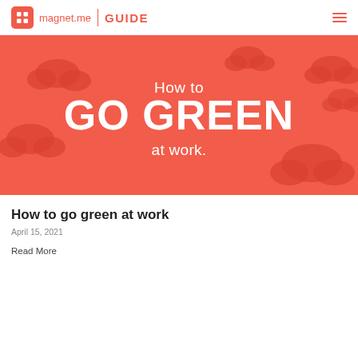magnet.me GUIDE
[Figure (illustration): Red/coral banner image with decorative cloud shapes and text: 'How to GO GREEN at work.' White text on coral/red background.]
How to go green at work
April 15, 2021
Read More